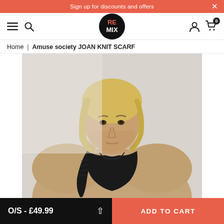Sign up for discounts and offers
[Figure (logo): REMIX logo - black circle with RE in red and MIX in white text]
Home | Amuse society JOAN KNIT SCARF
[Figure (photo): Model wearing black knit scarf over a tan/beige sweater, blonde hair, neutral background]
O/S - £49.99
ADD TO CART